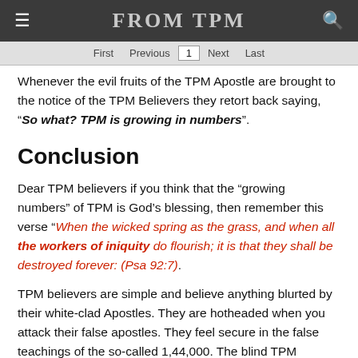FROM TPM
Whenever the evil fruits of the TPM Apostle are brought to the notice of the TPM Believers they retort back saying, “So what? TPM is growing in numbers”.
Conclusion
Dear TPM believers if you think that the “growing numbers” of TPM is God’s blessing, then remember this verse “When the wicked spring as the grass, and when all the workers of iniquity do flourish; it is that they shall be destroyed forever: (Psa 92:7).
TPM believers are simple and believe anything blurted by their white-clad Apostles. They are hotheaded when you attack their false apostles. They feel secure in the false teachings of the so-called 1,44,000. The blind TPM Believers do not fear God but fear the false TPM Apostles.
The Simple Believe Anything, But The Prudent Give